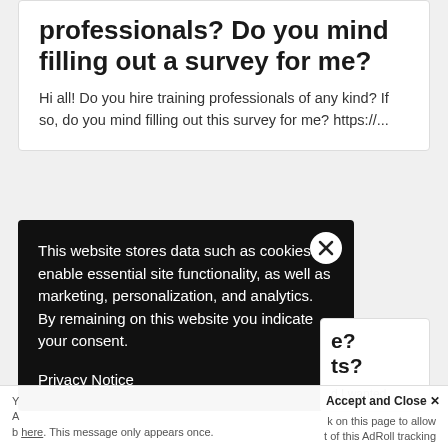professionals? Do you mind filling out a survey for me?
Hi all! Do you hire training professionals of any kind? If so, do you mind filling out this survey for me? https://...
Rachel Barnum
Corporate Trainer
This website stores data such as cookies to enable essential site functionality, as well as marketing, personalization, and analytics. By remaining on this website you indicate your consent.
Privacy Notice
e?
ts?
d I wanted
Y
A
b
Accept and Close ✕
k on this page to allow
t of this AdRoll tracking